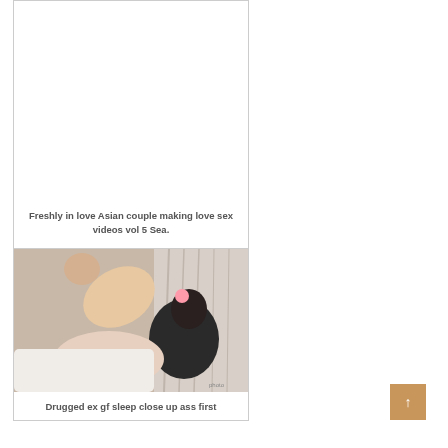[Figure (photo): Card with blank/white image placeholder at top]
Freshly in love Asian couple making love sex videos vol 5 Sea.
[Figure (photo): Card showing a photograph of people]
Drugged ex gf sleep close up ass first